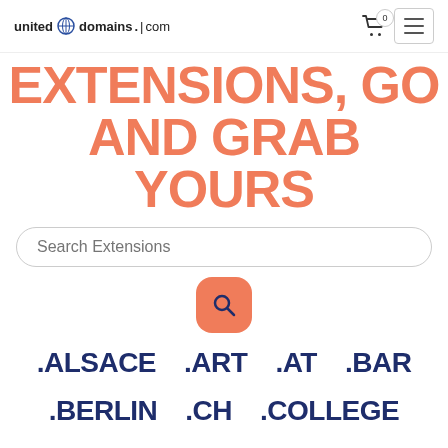united domains .com
EXTENSIONS, GO AND GRAB YOURS
Search Extensions
[Figure (other): Orange rounded square search button with magnifying glass icon]
.ALSACE  .ART  .AT  .BAR
.BERLIN  .CH  .COLLEGE
.DIRECT  .DOWNLOAD